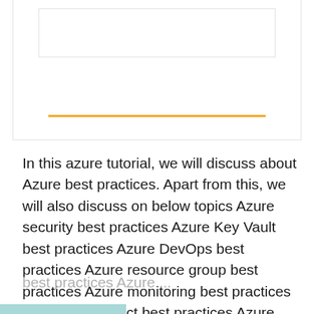[Figure (other): Decorative card/box UI element with gold accent tabs at top corners, inner bordered box, and gold horizontal line]
In this azure tutorial, we will discuss about Azure best practices. Apart from this, we will also discuss on below topics Azure security best practices Azure Key Vault best practices Azure DevOps best practices Azure resource group best practices Azure monitoring best practices Azure Ad connect best practices Azure subscription best practices Azure RBAC best practices Azure ...